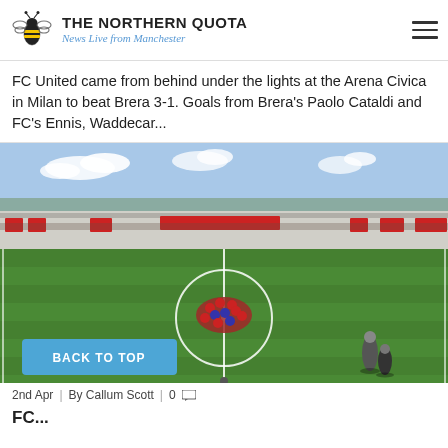THE NORTHERN QUOTA — News Live from Manchester
FC United came from behind under the lights at the Arena Civica in Milan to beat Brera 3-1. Goals from Brera's Paolo Cataldi and FC's Ennis, Waddecar...
[Figure (photo): Football pitch with players gathered in a huddle at the centre circle, stands visible in background. A 'BACK TO TOP' button overlay in blue is visible at the bottom left.]
2nd Apr | By Callum Scott | 0
FC...